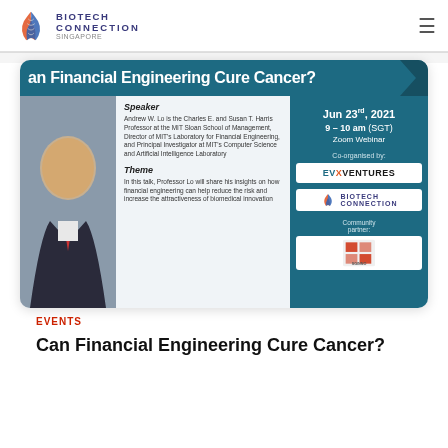BIOTECH CONNECTION
[Figure (screenshot): Webinar promotional banner for 'Can Financial Engineering Cure Cancer?' event, showing speaker Andrew W. Lo with bio, event date Jun 23rd 2021, 9-10am, Zoom Webinar, co-organised by EVX Ventures and Biotech Connection]
EVENTS
Can Financial Engineering Cure Cancer?